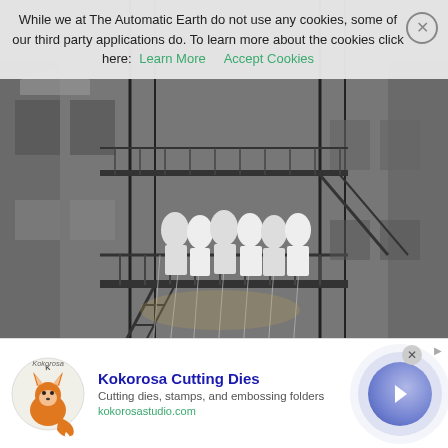While we at The Automatic Earth do not use any cookies, some of our third party applications do. To learn more about the cookies click here: Learn More   Accept Cookies
[Figure (photo): Black and white photograph of a group of young women/girls standing on a fire escape of a brick apartment building, with streamers hanging around them.]
[Figure (illustration): Advertisement banner for Kokorosa Cutting Dies featuring a fox logo, company name in bold blue text, tagline 'Cutting dies, stamps, and embossing folders', website kokorosastudio.com, and a blue arrow button on the right.]